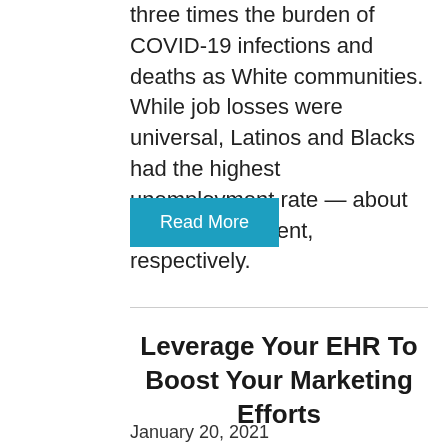three times the burden of COVID-19 infections and deaths as White communities. While job losses were universal, Latinos and Blacks had the highest unemployment rate — about 19 and 17 percent, respectively.
Read More
Leverage Your EHR To Boost Your Marketing Efforts
January 20, 2021